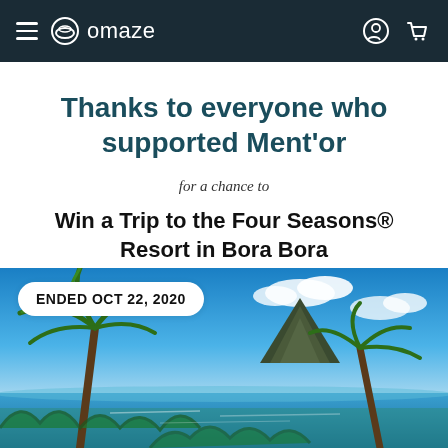omaze
Thanks to everyone who supported Ment'or
for a chance to
Win a Trip to the Four Seasons® Resort in Bora Bora
[Figure (photo): Tropical Bora Bora scene with palm trees in the foreground, blue sky with clouds, and a mountain peak in the background over turquoise water]
ENDED OCT 22, 2020